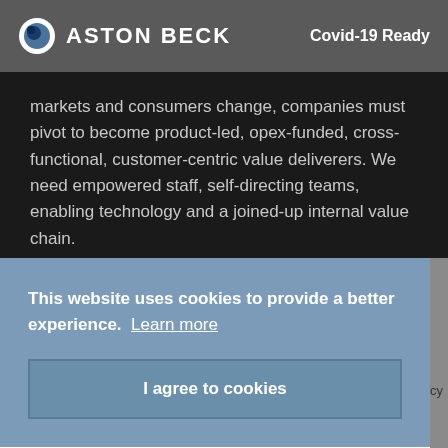ASTON BECK   Covid-19 Ready
markets and consumers change, companies must pivot to become product-led, opex-funded, cross-functional, customer-centric value deliverers. We need empowered staff, self-directing teams, enabling technology and a joined-up internal value chain.
DAVID SEACOMBE, JASON REDDING
2 MIN READ
This website uses cookies to provide a better experience.  Learn more
I agree to cookies
Policy